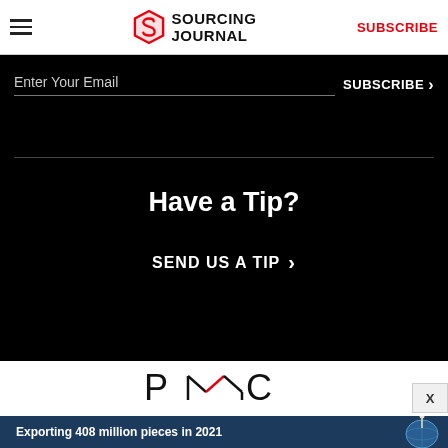Sourcing Journal — SUBSCRIBE
Enter Your Email
SUBSCRIBE ›
Have a Tip?
SEND US A TIP ›
[Figure (logo): PMC logo in black with red accent]
[Figure (infographic): Advertisement banner: Exporting 408 million pieces in 2021, dark blue background with globe graphic]